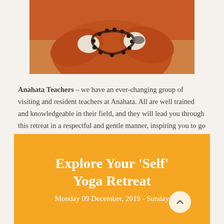[Figure (photo): Close-up photo of a person in orange robes holding prayer beads/mala with both hands, wearing white gloves]
Anahata Teachers – we have an ever-changing group of visiting and resident teachers at Anahata. All are well trained and knowledgeable in their field, and they will lead you through this retreat in a respectful and gentle manner, inspiring you to go deeper and explore what you find.
Explore Your 'Self' Yoga Retreat
Monday 09 December, 2019 - Sunday